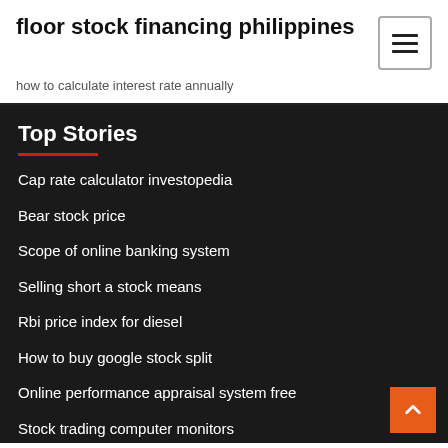floor stock financing philippines
how to calculate interest rate annually
Top Stories
Cap rate calculator investopedia
Bear stock price
Scope of online banking system
Selling short a stock means
Rbi price index for diesel
How to buy google stock split
Online performance appraisal system free
Stock trading computer monitors